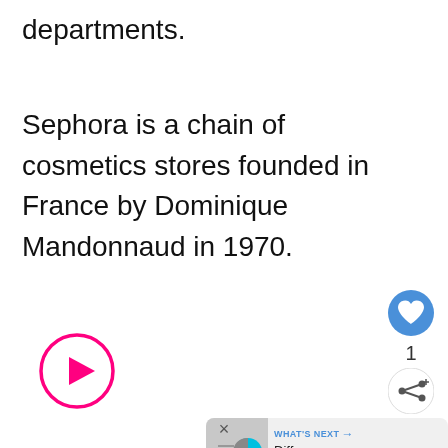departments.
Sephora is a chain of cosmetics stores founded in France by Dominique Mandonnaud in 1970.
[Figure (other): Pink circular play button icon]
[Figure (other): Blue circular heart/like button with count of 1]
[Figure (other): White circular share button]
[Figure (other): What's Next card showing a cyan pie-chart style image and text 'Difference Between...']
×